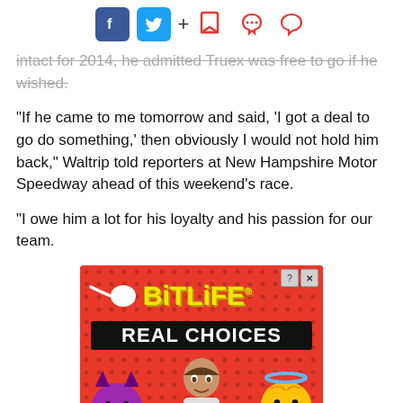Social share icons and action buttons
intact for 2014, he admitted Truex was free to go if he wished.
"If he came to me tomorrow and said, 'I got a deal to go do something,' then obviously I would not hold him back," Waltrip told reporters at New Hampshire Motor Speedway ahead of this weekend's race.
"I owe him a lot for his loyalty and his passion for our team.
[Figure (infographic): BitLife mobile game advertisement with red polka-dot background, BitLife logo in yellow bold text, 'REAL CHOICES' black banner, sperm emoji icon, devil emoji, angel emoji, and cartoon person]